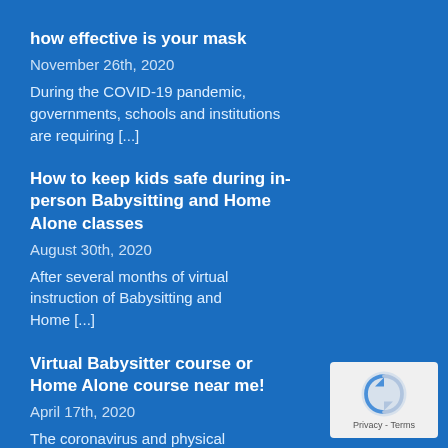how effective is your mask
November 26th, 2020
During the COVID-19 pandemic, governments, schools and institutions are requiring [...]
How to keep kids safe during in-person Babysitting and Home Alone classes
August 30th, 2020
After several months of virtual instruction of Babysitting and Home [...]
Virtual Babysitter course or Home Alone course near me!
April 17th, 2020
The coronavirus and physical distancing has caused [...]
[Figure (logo): reCAPTCHA badge with Privacy - Terms text]